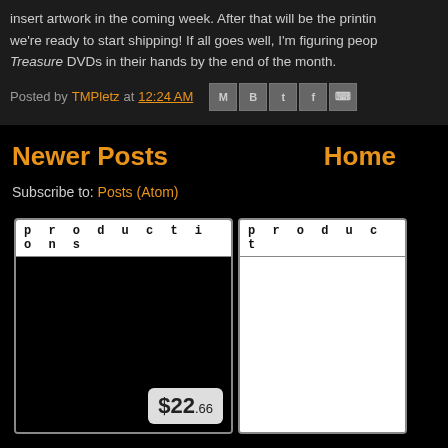insert artwork in the coming week. After that will be the printing, and then we're ready to start shipping! If all goes well, I'm figuring people will have their Treasure DVDs in their hands by the end of the month.
Posted by TMPletz at 12:24 AM
Newer Posts
Home
Subscribe to: Posts (Atom)
[Figure (screenshot): Two product cards with 'productions' header text and a price tag showing $22.66]